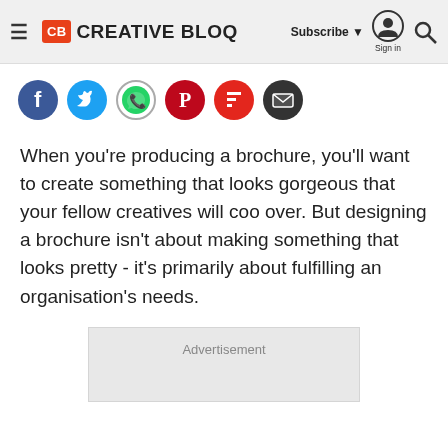CB CREATIVE BLOQ | Subscribe | Sign in
[Figure (other): Social sharing icons row: Facebook, Twitter, WhatsApp, Pinterest, Flipboard, Email]
When you're producing a brochure, you'll want to create something that looks gorgeous that your fellow creatives will coo over. But designing a brochure isn't about making something that looks pretty - it's primarily about fulfilling an organisation's needs.
Advertisement